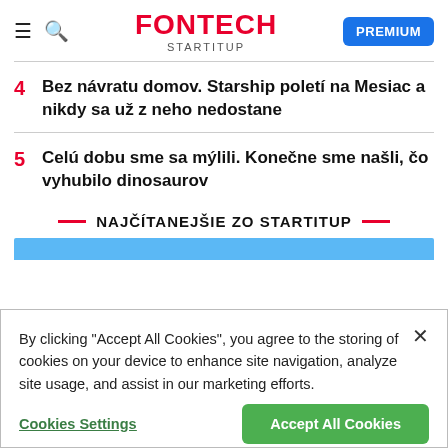FONTECH STARTITUP PREMIUM
4  Bez návratu domov. Starship poletí na Mesiac a nikdy sa už z neho nedostane
5  Celú dobu sme sa mýlili. Konečne sme našli, čo vyhubilo dinosaurov
NAJČÍTANEJŠIE ZO STARTITUP
By clicking "Accept All Cookies", you agree to the storing of cookies on your device to enhance site navigation, analyze site usage, and assist in our marketing efforts.
Cookies Settings  Accept All Cookies